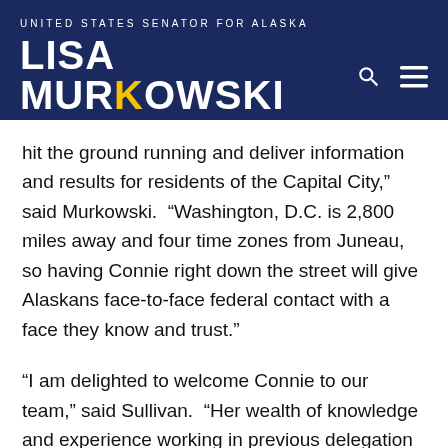UNITED STATES SENATOR FOR ALASKA — LISA MURKOWSKI
hit the ground running and deliver information and results for residents of the Capital City,” said Murkowski. “Washington, D.C. is 2,800 miles away and four time zones from Juneau, so having Connie right down the street will give Alaskans face-to-face federal contact with a face they know and trust.”
“I am delighted to welcome Connie to our team,” said Sullivan. “Her wealth of knowledge and experience working in previous delegation offices will be an enormous asset as we continue to build out our Alaska offices across the state.”